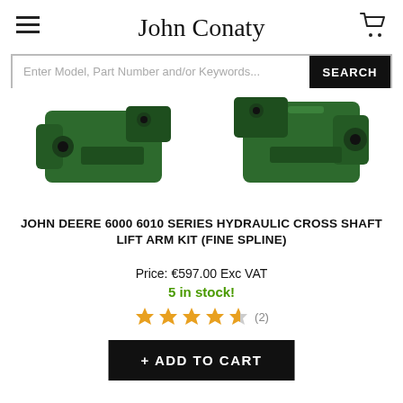John Conaty
[Figure (screenshot): Search bar with placeholder text 'Enter Model, Part Number and/or Keywords...' and a black SEARCH button]
[Figure (photo): Product photo showing green metal hydraulic cross shaft lift arm kit parts (John Deere green) on white background]
JOHN DEERE 6000 6010 SERIES HYDRAULIC CROSS SHAFT LIFT ARM KIT (FINE SPLINE)
Price: €597.00 Exc VAT
5 in stock!
★★★★½ (2)
+ ADD TO CART